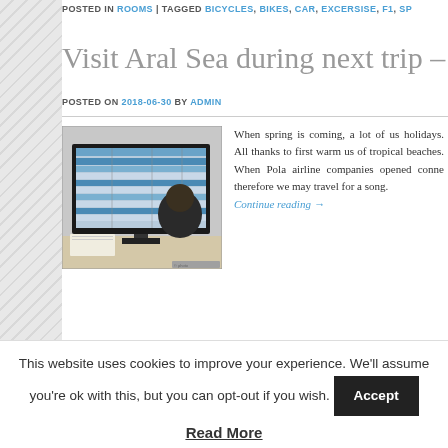POSTED IN ROOMS | TAGGED BICYCLES, BIKES, CAR, EXCERSISE, F1, SP
Visit Aral Sea during next trip – mc
POSTED ON 2018-06-30 BY ADMIN
[Figure (photo): Person sitting at a computer monitor displaying spreadsheet/data screens]
When spring is coming, a lot of us holidays. All thanks to first warm us of tropical beaches. When Pola airline companies opened conne therefore we may travel for a song. Continue reading →
This website uses cookies to improve your experience. We'll assume you're ok with this, but you can opt-out if you wish. Accept
Read More